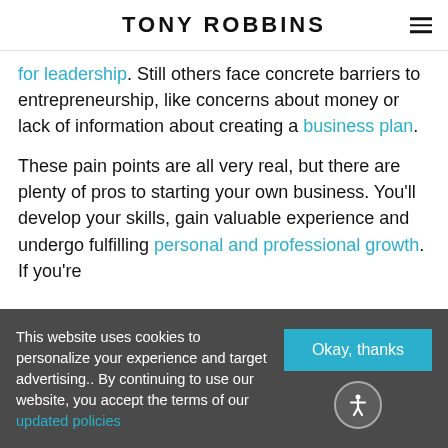TONY ROBBINS
for leadership. Still others face concrete barriers to entrepreneurship, like concerns about money or lack of information about creating a business plan.
These pain points are all very real, but there are plenty of pros to starting your own business. You'll develop your skills, gain valuable experience and undergo fulfilling personal and professional growth. If you're
This website uses cookies to personalize your experience and target advertising.. By continuing to use our website, you accept the terms of our updated policies